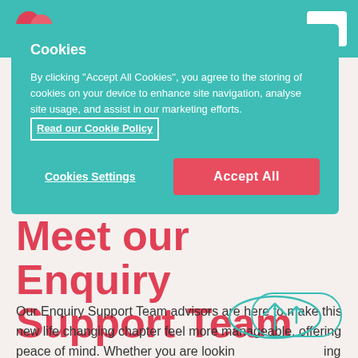[Figure (screenshot): Website header with teal background, balloon logo on left and white hamburger menu button on right]
Cookies

By clicking "Accept All Cookies", you agree to the storing of cookies on your device to enhance site navigation, analyse site usage, and assist in our marketing efforts. Read our Cookie Policy
Cookies Settings
Accept All
Meet our Enquiry Support Team
Our Enquiry Support Team advisors are here to make this new life changing chapter feel more manageable, offering peace of mind. Whether you are looking for something immediate or exploring options for the future, they provide free care home advice and support, six days a week (Mon to